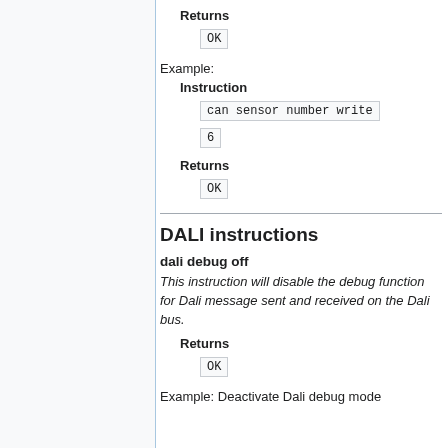Returns
OK
Example:
Instruction
can sensor number write
6
Returns
OK
DALI instructions
dali debug off
This instruction will disable the debug function for Dali message sent and received on the Dali bus.
Returns
OK
Example: Deactivate Dali debug mode